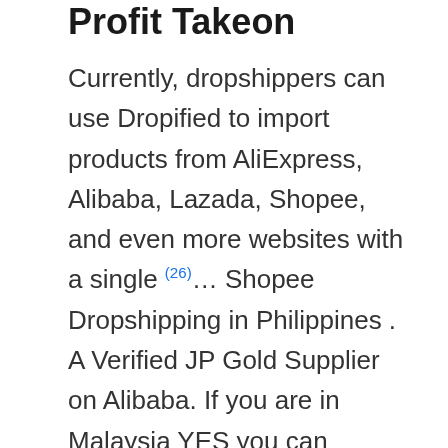Profit Takeon
Currently, dropshippers can use Dropified to import products from AliExpress, Alibaba, Lazada, Shopee, and even more websites with a single (26)… Shopee Dropshipping in Philippines . A Verified JP Gold Supplier on Alibaba. If you are in Malaysia YES you can dropship to Shopee easily!(27)…